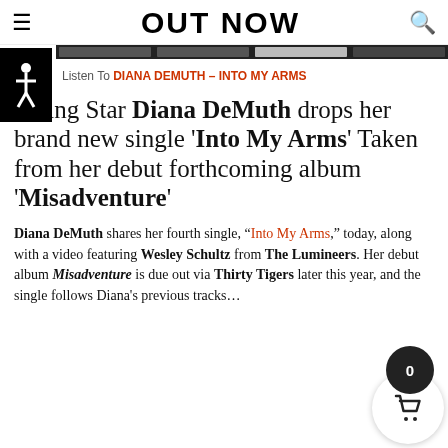OUT NOW
Listen To DIANA DEMUTH – INTO MY ARMS
Rising Star Diana DeMuth drops her brand new single 'Into My Arms' Taken from her debut forthcoming album 'Misadventure'
Diana DeMuth shares her fourth single, "Into My Arms," today, along with a video featuring Wesley Schultz from The Lumineers. Her debut album Misadventure is due out via Thirty Tigers later this year, and the single follows Diana's previous tracks…